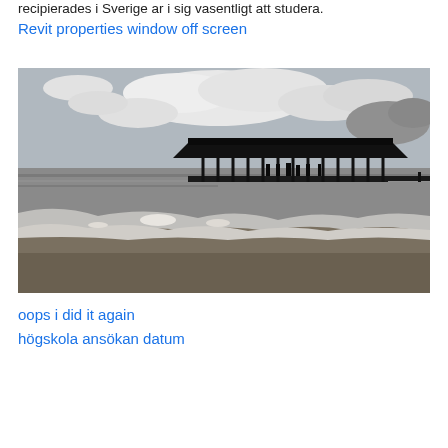recipierades i Sverige ar i sig vasentligt att studera.
Revit properties window off screen
[Figure (photo): Black and white photo of a covered pier/pavilion over water with waves in the foreground and cloudy sky above.]
oops i did it again
högskola ansökan datum